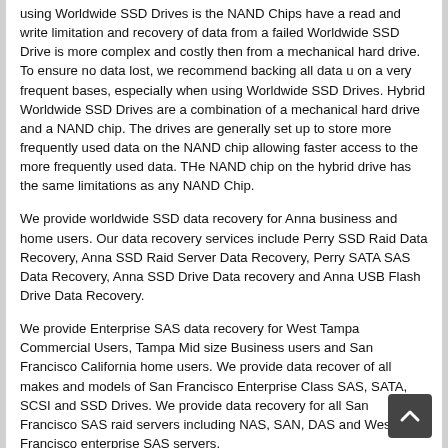using Worldwide SSD Drives is the NAND Chips have a read and write limitation and recovery of data from a failed Worldwide SSD Drive is more complex and costly then from a mechanical hard drive. To ensure no data lost, we recommend backing all data u on a very frequent bases, especially when using Worldwide SSD Drives. Hybrid Worldwide SSD Drives are a combination of a mechanical hard drive and a NAND chip. The drives are generally set up to store more frequently used data on the NAND chip allowing faster access to the more frequently used data. THe NAND chip on the hybrid drive has the same limitations as any NAND Chip.
We provide worldwide SSD data recovery for Anna business and home users. Our data recovery services include Perry SSD Raid Data Recovery, Anna SSD Raid Server Data Recovery, Perry SATA SAS Data Recovery, Anna SSD Drive Data recovery and Anna USB Flash Drive Data Recovery.
We provide Enterprise SAS data recovery for West Tampa Commercial Users, Tampa Mid size Business users and San Francisco California home users. We provide data recover of all makes and models of San Francisco Enterprise Class SAS, SATA, SCSI and SSD Drives. We provide data recovery for all San Francisco SAS raid servers including NAS, SAN, DAS and West San Francisco enterprise SAS servers.
We provide Data Recovery for all Solid State Drives and USB Flash Drives including SSD Data Recovery Marble, SSD Data Recovery Douglas, SSD Data Recovery Craig and SSD Data